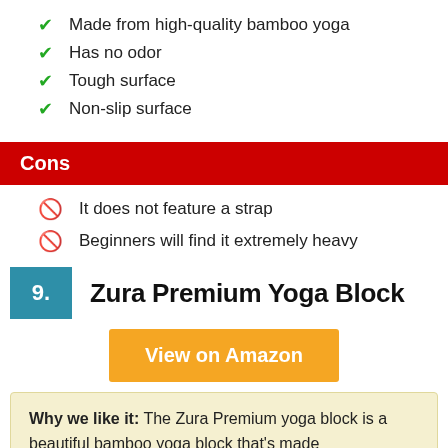Made from high-quality bamboo yoga
Has no odor
Tough surface
Non-slip surface
Cons
It does not feature a strap
Beginners will find it extremely heavy
9. Zura Premium Yoga Block
View on Amazon
Why we like it: The Zura Premium yoga block is a beautiful bamboo yoga block that's made